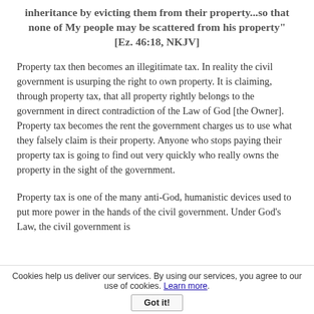inheritance by evicting them from their property...so that none of My people may be scattered from his property" [Ez. 46:18, NKJV]
Property tax then becomes an illegitimate tax. In reality the civil government is usurping the right to own property. It is claiming, through property tax, that all property rightly belongs to the government in direct contradiction of the Law of God [the Owner]. Property tax becomes the rent the government charges us to use what they falsely claim is their property. Anyone who stops paying their property tax is going to find out very quickly who really owns the property in the sight of the government.
Property tax is one of the many anti-God, humanistic devices used to put more power in the hands of the civil government. Under God's Law, the civil government is
Cookies help us deliver our services. By using our services, you agree to our use of cookies. Learn more. Got it!